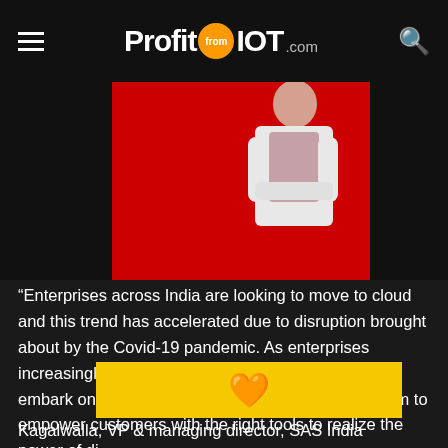ProfitfromIOT.com
[Figure (photo): Partial photo of a woman in white jacket with arms crossed, standing against a red background, partially cropped at top]
“Enterprises across India are looking to move to cloud and this trend has accelerated due to disruption brought about by the Covid-19 pandemic. As enterprises increasingly migrate their workloads to cloud and embark on their digital transformation journey, we aim to empower customers with the right tools to realize the power of di…
[Figure (illustration): Yellow/gold banner overlay with an orange heart emoji icon in the center]
Kagalwalla, VP & managing director, SAS India